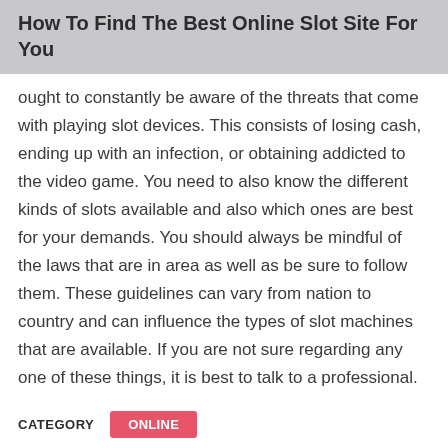How To Find The Best Online Slot Site For You
ought to constantly be aware of the threats that come with playing slot devices. This consists of losing cash, ending up with an infection, or obtaining addicted to the video game. You need to also know the different kinds of slots available and also which ones are best for your demands. You should always be mindful of the laws that are in area as well as be sure to follow them. These guidelines can vary from nation to country and can influence the types of slot machines that are available. If you are not sure regarding any one of these things, it is best to talk to a professional.
CATEGORY